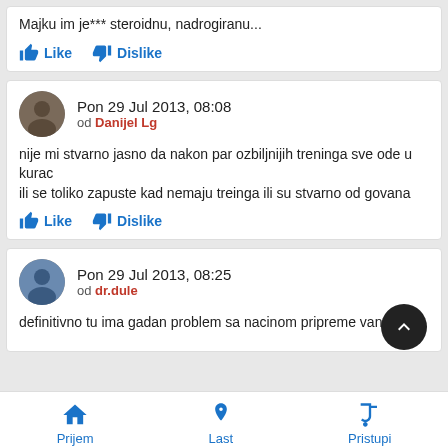Majku im je*** steroidnu, nadrogiranu...
Like   Dislike
Pon 29 Jul 2013, 08:08
od Danijel Lg
nije mi stvarno jasno da nakon par ozbiljnijih treninga sve ode u kurac
ili se toliko zapuste kad nemaju treinga ili su stvarno od govana
Like   Dislike
Pon 29 Jul 2013, 08:25
od dr.dule
definitivno tu ima gadan problem sa nacinom pripreme van
Prijem   Last   Pristupi